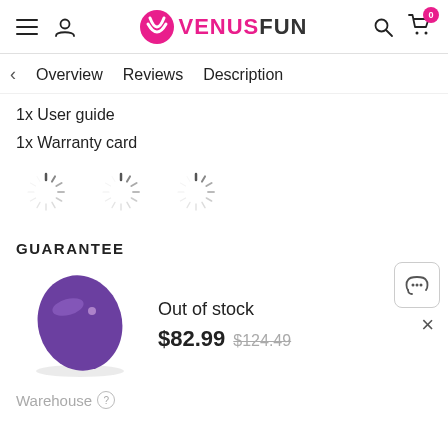VenusFun - menu, user, search, cart (0)
Overview   Reviews   Description
1x User guide
1x Warranty card
[Figure (illustration): Three loading spinner icons]
GUARANTEE
[Figure (photo): Purple oval vibrator device product image]
Out of stock
$82.99  $124.49
Warehouse